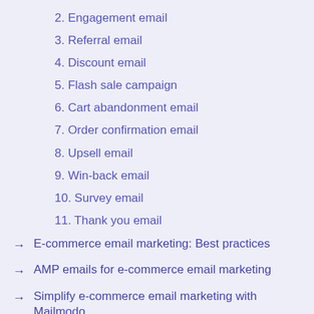2. Engagement email
3. Referral email
4. Discount email
5. Flash sale campaign
6. Cart abandonment email
7. Order confirmation email
8. Upsell email
9. Win-back email
10. Survey email
11. Thank you email
E-commerce email marketing: Best practices
AMP emails for e-commerce email marketing
Simplify e-commerce email marketing with Mailmodo